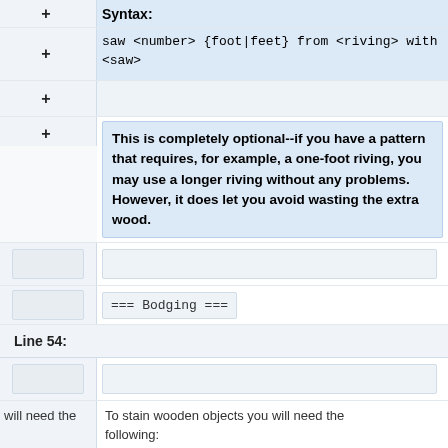+ Syntax:
+ saw <number> {foot|feet} from <riving> with <saw>
+
+ This is completely optional--if you have a pattern that requires, for example, a one-foot riving, you may use a longer riving without any problems.  However, it does let you avoid wasting the extra wood.
=== Bodging ===
Line 54:
will need the
To stain wooden objects you will need the following: